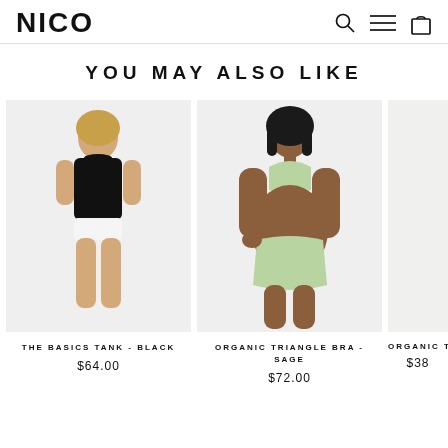NICO
YOU MAY ALSO LIKE
[Figure (photo): Model wearing black basics tank top with white underwear on light gray background]
THE BASICS TANK - BLACK
$64.00
[Figure (photo): Model wearing sage green organic triangle bra and matching bikini bottom on light gray background]
ORGANIC TRIANGLE BRA - SAGE
$72.00
[Figure (photo): Partially visible third product - Organic Tho...]
ORGANIC THO...
$38